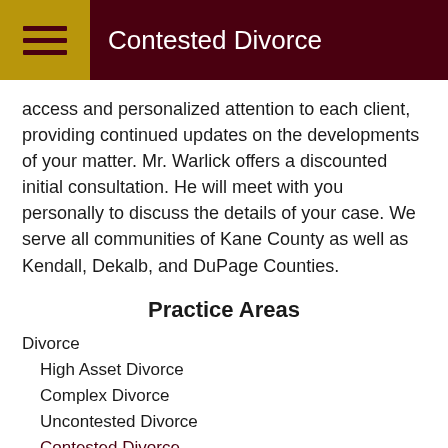Contested Divorce
access and personalized attention to each client, providing continued updates on the developments of your matter. Mr. Warlick offers a discounted initial consultation. He will meet with you personally to discuss the details of your case. We serve all communities of Kane County as well as Kendall, Dekalb, and DuPage Counties.
Practice Areas
Divorce
High Asset Divorce
Complex Divorce
Uncontested Divorce
Contested Divorce
Custody & Support
Daycare and Child Support